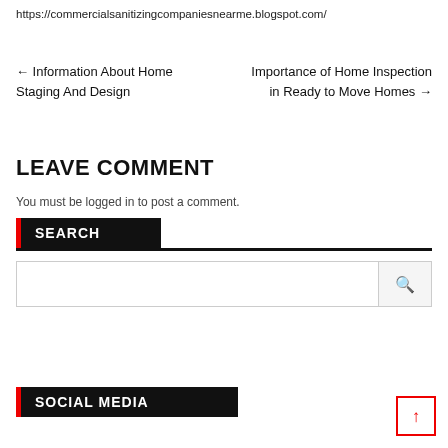https://commercialsanitizingcompaniesnearme.blogspot.com/
← Information About Home Staging And Design
Importance of Home Inspection in Ready to Move Homes →
LEAVE COMMENT
You must be logged in to post a comment.
SEARCH
SOCIAL MEDIA